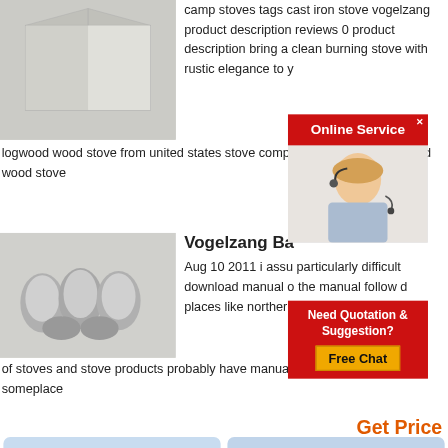[Figure (photo): Cardboard box on white background]
camp stoves tags cast iron stove vogelzang product description reviews 0 product description bring a clean burning stove with rustic elegance to y
[Figure (infographic): Online Service banner with female customer service agent wearing headset]
logwood wood stove from united states stove company cast iron constructed wood stove
[Figure (photo): Four silver metallic egg/teardrop shaped objects on white background]
Vogelzang Ba
Aug 10 2011  i assu particularly difficult download manual o the manual follow d places like northern
[Figure (infographic): Need Quotation & Suggestion? Free Chat button overlay]
of stoves and stove products probably have manual available for download someplace
Get Price
Get a Quote
Chat Now